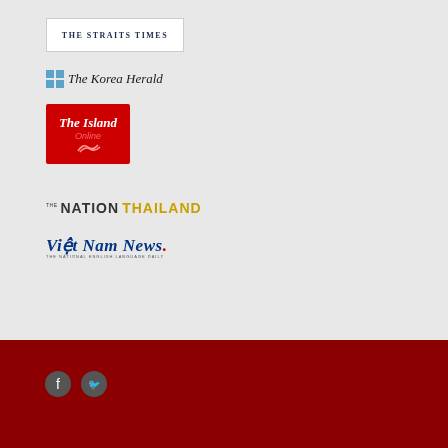[Figure (logo): The Straits Times logo - white background with dark blue serif text]
[Figure (logo): The Korea Herald logo with blue grid icon and serif text]
[Figure (logo): The Island Online logo - red background with white italic text and orange Online text]
[Figure (logo): The Nation Thailand logo - Nation in dark text, THAILAND in gold text]
[Figure (logo): Viet Nam News logo in blue italic serif font with red period and subtitle]
Copyright © 2018 - 2022 Asia News Network. All rights reserved.